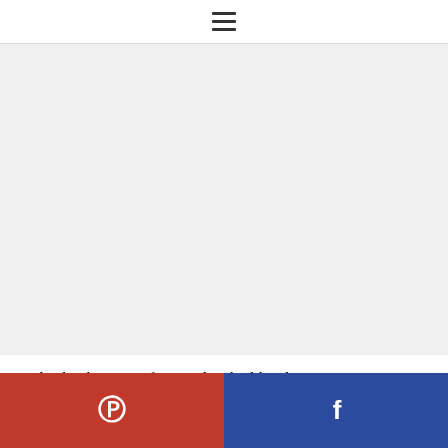≡
[Figure (other): Large blank/white image area placeholder]
This book is great for people who like classic, cozy projects with details that make them fun
[Figure (infographic): Social sharing bar with Pinterest (red, left) and Facebook (blue, right) buttons]